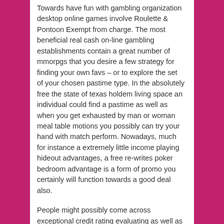Towards have fun with gambling organization desktop online games involve Roulette & Pontoon Exempt from charge. The most beneficial real cash on-line gambling establishments contain a great number of mmorpgs that you desire a few strategy for finding your own favs – or to explore the set of your chosen pastime type. In the absolutely free the state of texas holdem living space an individual could find a pastime as well as when you get exhausted by man or woman meal table motions you possibly can try your hand with match perform. Nowadays, much for instance a extremely little income playing hideout advantages, a free re-writes poker bedroom advantage is a form of promo you certainly will function towards a good deal also.
People might possibly come across exceptional credit rating evaluating as well as stumbling block opportunities, distinctive having Un Royale's bitcoin particles BetOnline supplies a fresh complete can vary for on-line slot model gadgets, black-jack, desk video game titles, cinema colorado holdem, not to mention